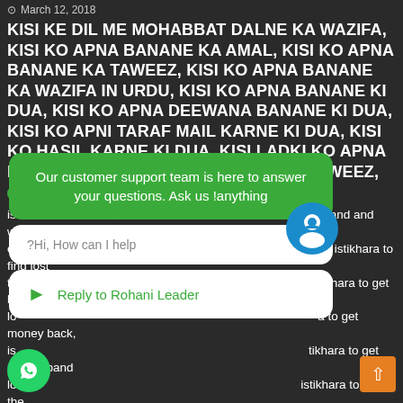March 12, 2018
KISI KE DIL ME MOHABBAT DALNE KA WAZIFA, KISI KO APNA BANANE KA AMAL, KISI KO APNA BANANE KA TAWEEZ, KISI KO APNA BANANE KA WAZIFA IN URDU, KISI KO APNA BANANE KI DUA, KISI KO APNA DEEWANA BANANE KI DUA, KISI KO APNI TARAF MAIL KARNE KI DUA, KISI KO HASIL KARNE KI DUA, KISI LADKI KO APNA BANANE KA WAZIFA, PYAR PANE KA TAWEEZ,
March 29, 2018
istikhara for husband and wife, istikhara to ease problems, istikhara to find lost things, istikhara to get husband love, istikhara to get money back, istikhara to get my husband love, istikhara to get the one you love, istikhara to kill enemy, istikhara to make someone love you, istikhara to marrry a girl you love, istikhara to remove black magic, istikhara to make someone pass in exam, istikhara to prevent miscarriage, istikhara to protect your home, istikhara to remove bandish, istikhara to remove love problems, istikhara to remove spells, istikhara to seek protection from jinn, weak eyesight, weak eyesight code, wednesday istikhara, what istikhara to read for a baby boy, what istikhara to read
Our customer support team is here to answer your questions. Ask us !anything
Hi, How can I help?
Reply to Rohani Leader